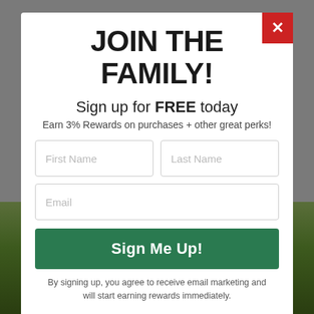JOIN THE FAMILY!
Sign up for FREE today
Earn 3% Rewards on purchases + other great perks!
By signing up, you agree to receive email marketing and will start earning rewards immediately.
No, thanks
[Figure (photo): Golf bag on a green golf course, visible at the bottom of the page behind the modal overlay]